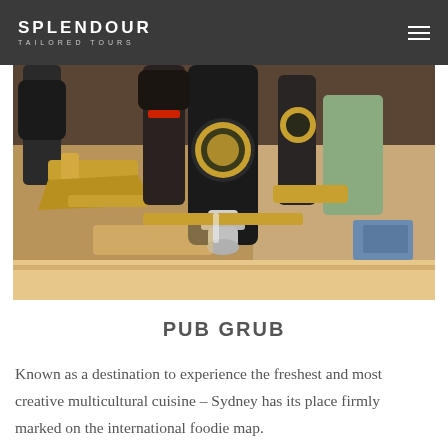SPLENDOUR TAILORED TOURS
[Figure (photo): Close-up photograph of brass beer tap handles on a pub bar, gold and black taps in focus with blurred background showing pub interior]
PUB GRUB
Known as a destination to experience the freshest and most creative multicultural cuisine – Sydney has its place firmly marked on the international foodie map.